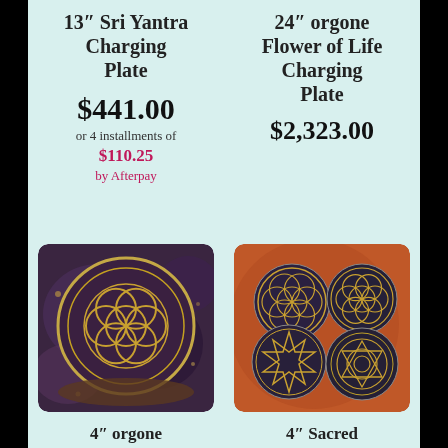13″ Sri Yantra Charging Plate
$441.00
or 4 installments of $110.25 by Afterpay
24″ orgone Flower of Life Charging Plate
$2,323.00
[Figure (photo): Round dark orgone disc with flower of life pattern in gold on blue/purple background]
[Figure (photo): Four round dark orgone discs with various sacred geometry patterns in gold on red background]
4″ orgone
4″ Sacred